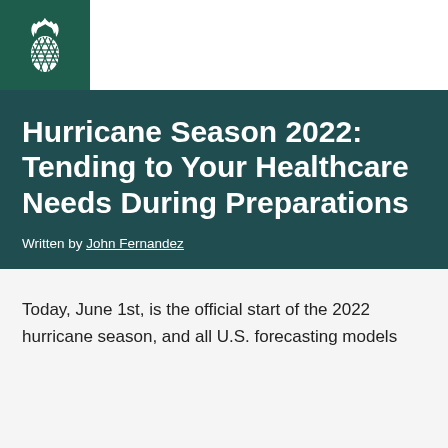[Figure (logo): White pineapple logo on dark green background]
Hurricane Season 2022: Tending to Your Healthcare Needs During Preparations
Written by John Fernandez
Today, June 1st, is the official start of the 2022 hurricane season, and all U.S. forecasting models